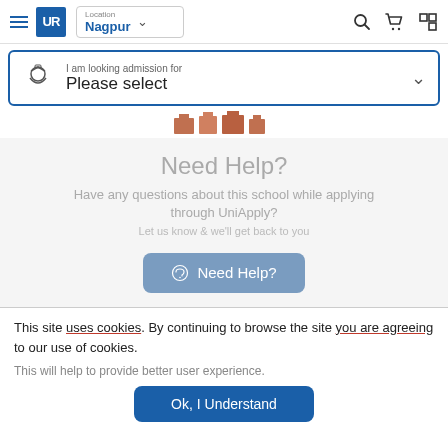UniApply navigation bar with logo, location Nagpur, search, cart, and grid icons
[Figure (screenshot): Admission search dropdown with graduation cap icon, text 'I am looking admission for' and 'Please select']
[Figure (illustration): Decorative icon strip with building/school icons in orange/brown tones]
Need Help?
Have any questions about this school while applying through UniApply? Let us know & we'll get back to you
[Figure (screenshot): Need Help? button with headphone icon, light blue/steel color]
This site uses cookies. By continuing to browse the site you are agreeing to our use of cookies.
This will help to provide better user experience.
[Figure (screenshot): Ok, I Understand button in dark blue]